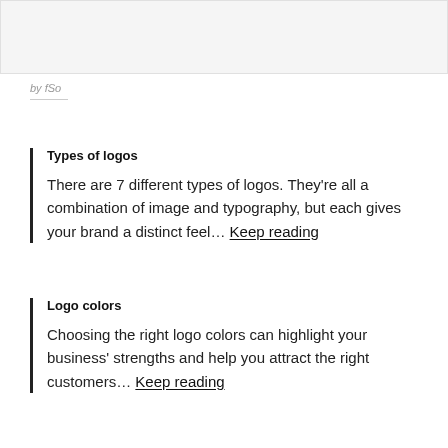[Figure (other): Top image area, partially visible, light gray background]
by fSo
Types of logos
There are 7 different types of logos. They're all a combination of image and typography, but each gives your brand a distinct feel… Keep reading
Logo colors
Choosing the right logo colors can highlight your business' strengths and help you attract the right customers… Keep reading